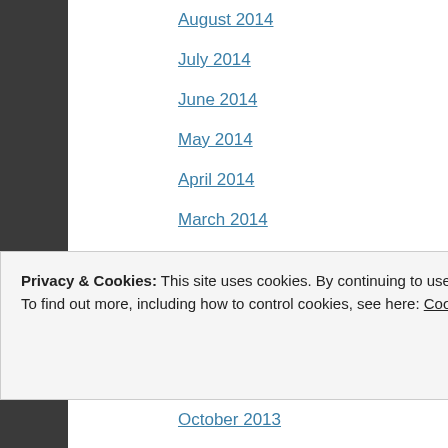August 2014
July 2014
June 2014
May 2014
April 2014
March 2014
February 2014
January 2014
December 2013
November 2013
October 2013
Privacy & Cookies: This site uses cookies. By continuing to use this website, you agree to their use. To find out more, including how to control cookies, see here: Cookie Policy
Close and accept